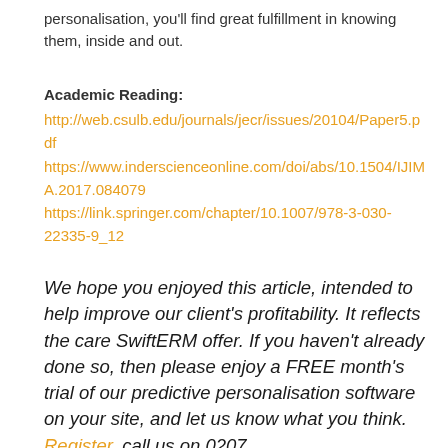personalisation, you'll find great fulfillment in knowing them, inside and out.
Academic Reading:
http://web.csulb.edu/journals/jecr/issues/20104/Paper5.pdf
https://www.inderscienceonline.com/doi/abs/10.1504/IJIMA.2017.084079
https://link.springer.com/chapter/10.1007/978-3-030-22335-9_12
We hope you enjoyed this article, intended to help improve our client's profitability. It reflects the care SwiftERM offer. If you haven't already done so, then please enjoy a FREE month's trial of our predictive personalisation software on your site, and let us know what you think. Register, call us on 0207